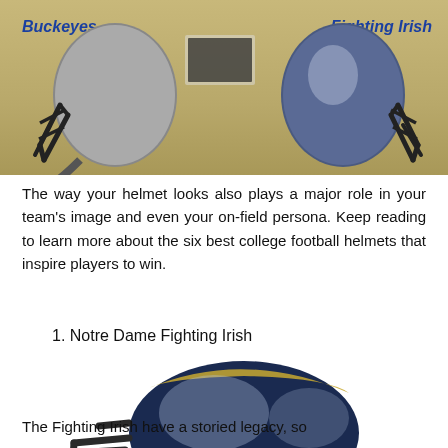[Figure (photo): Two football helmets (Buckeyes and Fighting Irish) facing each other on a tan/sandy background, with team name labels above each helmet]
The way your helmet looks also plays a major role in your team's image and even your on-field persona. Keep reading to learn more about the six best college football helmets that inspire players to win.
1. Notre Dame Fighting Irish
[Figure (photo): Notre Dame Fighting Irish football helmet, navy blue and gold, side profile view on white background]
The Fighting Irish have a storied legacy, so